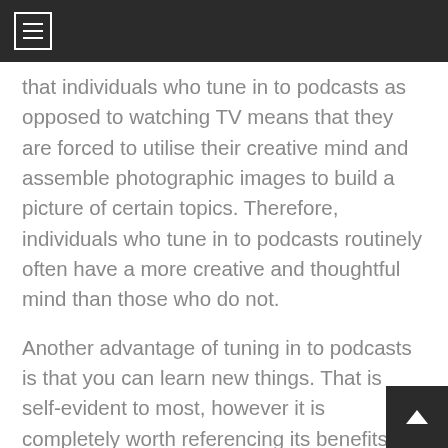that individuals who tune in to podcasts as opposed to watching TV means that they are forced to utilise their creative mind and assemble photographic images to build a picture of certain topics. Therefore, individuals who tune in to podcasts routinely often have a more creative and thoughtful mind than those who do not.
Another advantage of tuning in to podcasts is that you can learn new things. That is self-evident to most, however it is completely worth referencing its benefits! Podcast shows produce episodes that can vary in their length of time but the great thing is that if a podcast is too long to finish in one sitting you can